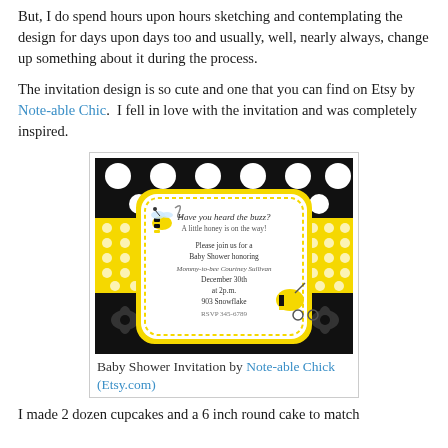But, I do spend hours upon hours sketching and contemplating the design for days upon days too and usually, well, nearly always, change up something about it during the process.
The invitation design is so cute and one that you can find on Etsy by Note-able Chic. I fell in love with the invitation and was completely inspired.
[Figure (illustration): Baby shower invitation with bumble bee theme. Black polka dot and damask background with yellow accents. Center panel reads: Have you heard the buzz? A little honey is on the way! Please join us for a Baby Shower honoring Mommy-to-bee Courtney Sullivan December 30th at 2p.m. 903 Snowflake RSVP 345-6789]
Baby Shower Invitation by Note-able Chick (Etsy.com)
I made 2 dozen cupcakes and a 6 inch round cake to match